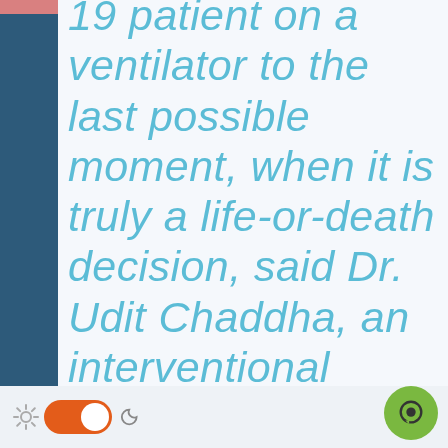19 patient on a ventilator to the last possible moment, when it is truly a life-or-death decision, said Dr. Udit Chaddha, an interventional pulmonologist